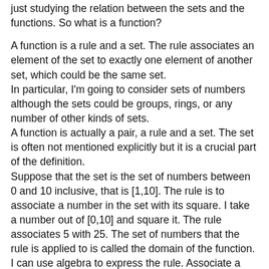just studying the relation between the sets and the functions. So what is a function?
A function is a rule and a set. The rule associates an element of the set to exactly one element of another set, which could be the same set. In particular, I'm going to consider sets of numbers although the sets could be groups, rings, or any number of other kinds of sets. A function is actually a pair, a rule and a set. The set is often not mentioned explicitly but it is a crucial part of the definition. Suppose that the set is the set of numbers between 0 and 10 inclusive, that is [1,10]. The rule is to associate a number in the set with its square. I take a number out of [0,10] and square it. The rule associates 5 with 25. The set of numbers that the rule is applied to is called the domain of the function. I can use algebra to express the rule. Associate a number x in the domain with the number x². As is usual we give the rule a letter name, say f. We denote the number that the rule of f, associates with the number, x, by f(x). So we can write f(x) = x².
(f(x) is not a function, it is a number... The function is f, when f...